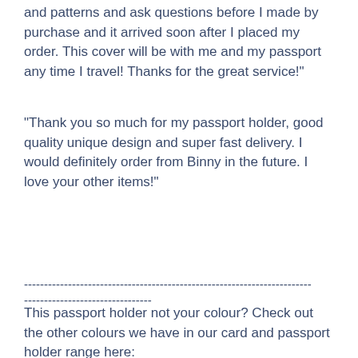and patterns and ask questions before I made by purchase and it arrived soon after I placed my order. This cover will be with me and my passport any time I travel! Thanks for the great service!"
"Thank you so much for my passport holder, good quality unique design and super fast delivery. I would definitely order from Binny in the future. I love your other items!"
----------------------------------------------------------------------------------------------------------------------------------------
This passport holder not your colour? Check out the other colours we have in our card and passport holder range here: